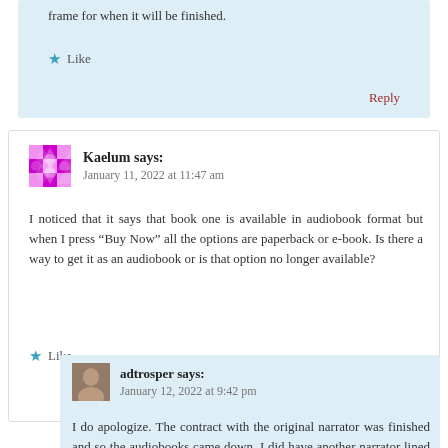frame for when it will be finished.
Like
Reply
Kaelum says:
January 11, 2022 at 11:47 am
I noticed that it says that book one is available in audiobook format but when I press “Buy Now” all the options are paperback or e-book. Is there a way to get it as an audiobook or is that option no longer available?
Like
Reply
adtrosper says:
January 12, 2022 at 9:42 pm
I do apologize. The contract with the original narrator was finished and so the audiobooks came down. I did have another narrator lined up, but sadly that person wasn’t able to complete the audio books so for now, they aren’t be available online until we find a...